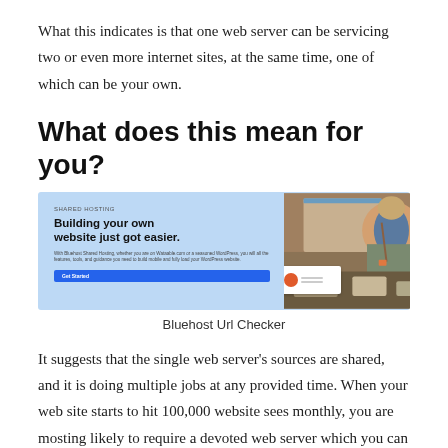What this indicates is that one web server can be servicing two or even more internet sites, at the same time, one of which can be your own.
What does this mean for you?
[Figure (screenshot): Bluehost shared hosting promotional screenshot with text 'Building your own website just got easier.' and a photo of a chef plating food.]
Bluehost Url Checker
It suggests that the single web server’s sources are shared, and it is doing multiple jobs at any provided time. When your web site starts to hit 100,000 website sees monthly, you are mosting likely to require a devoted web server which you can likewise receive